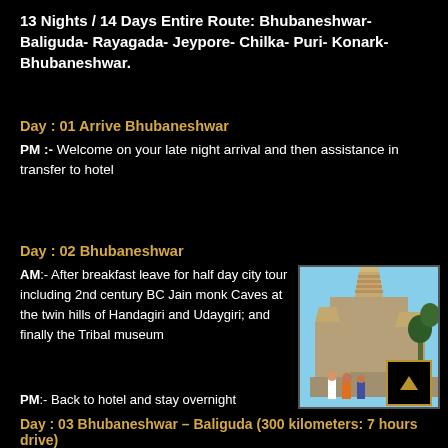13 Nights / 14 Days Entire Route: Bhubaneshwar- Baliguda- Rayagada- Jeypore- Chilka- Puri- Konark- Bhubaneshwar.
Day : 01 Arrive Bhubaneshwar
PM :- Welcome on your late night arrival and then assistance in transfer to hotel
Day : 02 Bhubaneshwar
AM:- After breakfast leave for half day city tour including 2nd century BC Jain monk Caves at the twin hills of Handagiri and Udaygiri; and finally the Tribal museum
[Figure (photo): Photo of an ancient Hindu/Jain temple with stone architecture, people in colorful traditional dress standing in foreground, blue sky background]
PM:- Back to hotel and stay overnight
Day : 03 Bhubaneshwar – Baliguda (300 kilometers: 7 hours drive)